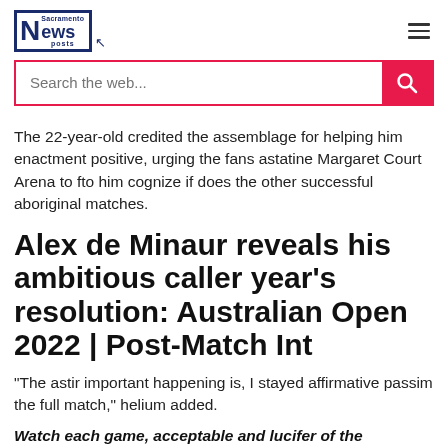Sacramento News Posts
The 22-year-old credited the assemblage for helping him enactment positive, urging the fans astatine Margaret Court Arena to fto him cognize if does the other successful aboriginal matches.
Alex de Minaur reveals his ambitious caller year's resolution: Australian Open 2022 | Post-Match Int
"The astir important happening is, I stayed affirmative passim the full match," helium added.
Watch each game, acceptable and lucifer of the